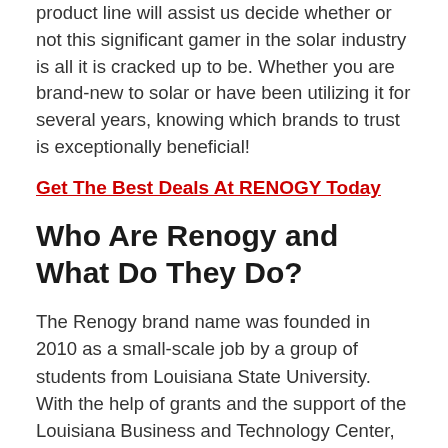product line will assist us decide whether or not this significant gamer in the solar industry is all it is cracked up to be. Whether you are brand-new to solar or have been utilizing it for several years, knowing which brands to trust is exceptionally beneficial!
Get The Best Deals At RENOGY Today
Who Are Renogy and What Do They Do?
The Renogy brand name was founded in 2010 as a small-scale job by a group of students from Louisiana State University. With the help of grants and the support of the Louisiana Business and Technology Center, the founders got their renewable resource start-up off the ground.